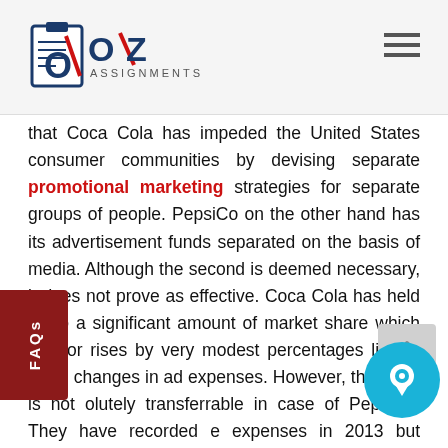OZ Assignments
that Coca Cola has impeded the United States consumer communities by devising separate promotional marketing strategies for separate groups of people. PepsiCo on the other hand has its advertisement funds separated on the basis of media. Although the second is deemed necessary, it does not prove as effective. Coca Cola has held on to a significant amount of market share which falls or rises by very modest percentages licking small changes in ad expenses. However, the trend is not olutely transferrable in case of PepsiCo. They have recorded e expenses in 2013 but market share does not respond in the same way. PepsiCo and the other minority shareholders needs to step into diverse platforms and make long-term strategy plans in order to appeal to more diverse communities through specific appeal structures. Other relevant brand value boosters be implemented like CSR, public interest campaigns etc. so their reputation is lifted.